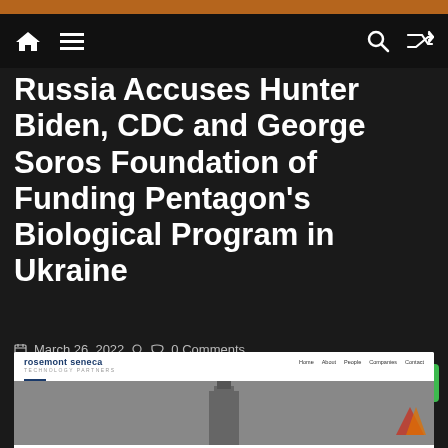Russia Accuses Hunter Biden, CDC and George Soros Foundation of Funding Pentagon's Biological Program in Ukraine
Russia Accuses Hunter Biden, CDC and George Soros Foundation of Funding Pentagon's Biological Program in Ukraine
March 26, 2022  •  0 Comments
[Figure (screenshot): Social media sharing buttons: Telegram, Reddit, Pinterest, Pocket, Twitter, Facebook, WhatsApp, LinkedIn, Email, SMS]
[Figure (screenshot): Screenshot of Rosemont Seneca Technology Partners website header with navigation links: Home, About, People, Companies, Contact]